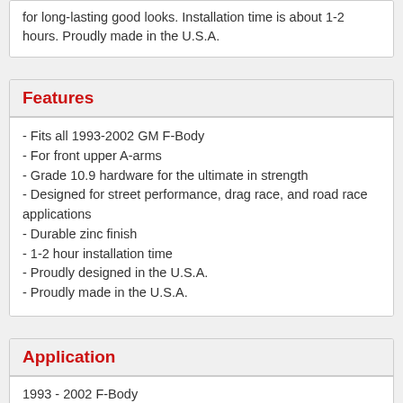for long-lasting good looks. Installation time is about 1-2 hours. Proudly made in the U.S.A.
Features
- Fits all 1993-2002 GM F-Body
- For front upper A-arms
- Grade 10.9 hardware for the ultimate in strength
- Designed for street performance, drag race, and road race applications
- Durable zinc finish
- 1-2 hour installation time
- Proudly designed in the U.S.A.
- Proudly made in the U.S.A.
Application
1993 - 2002 F-Body